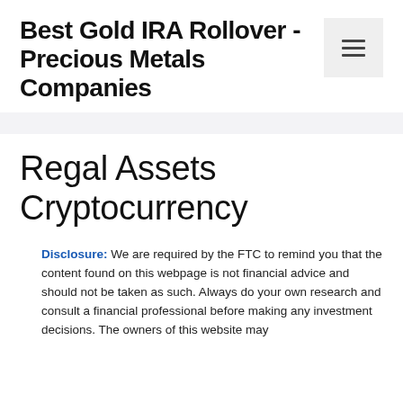Best Gold IRA Rollover - Precious Metals Companies
Regal Assets Cryptocurrency
Disclosure: We are required by the FTC to remind you that the content found on this webpage is not financial advice and should not be taken as such. Always do your own research and consult a financial professional before making any investment decisions. The owners of this website may